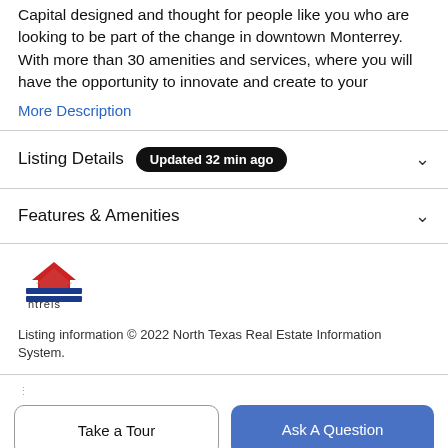Capital designed and thought for people like you who are looking to be part of the change in downtown Monterrey. With more than 30 amenities and services, where you will have the opportunity to innovate and create to your
More Description
Listing Details   Updated 32 min ago
Features & Amenities
[Figure (logo): NTREIS logo — stylized house/building icon in red and blue above the text 'ntreis']
Listing information © 2022 North Texas Real Estate Information System.
Take a Tour
Ask A Question